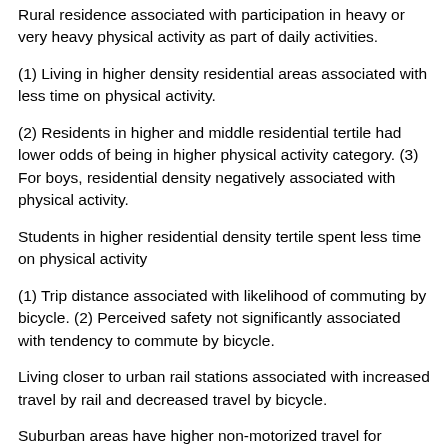Rural residence associated with participation in heavy or very heavy physical activity as part of daily activities.
(1) Living in higher density residential areas associated with less time on physical activity.
(2) Residents in higher and middle residential tertile had lower odds of being in higher physical activity category. (3) For boys, residential density negatively associated with physical activity.
Students in higher residential density tertile spent less time on physical activity
(1) Trip distance associated with likelihood of commuting by bicycle. (2) Perceived safety not significantly associated with tendency to commute by bicycle.
Living closer to urban rail stations associated with increased travel by rail and decreased travel by bicycle.
Suburban areas have higher non-motorized travel for commuting, compared to central core and hybrid